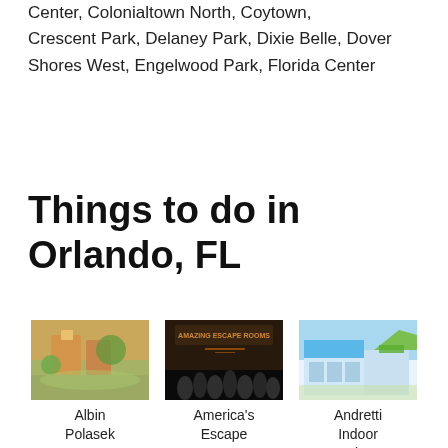Center, Colonialtown North, Coytown, Crescent Park, Delaney Park, Dixie Belle, Dover Shores West, Engelwood Park, Florida Center
Things to do in Orlando, FL
[Figure (photo): Photo of Albin Polasek Museum & Sculpture Gardens - outdoor garden scene]
Albin Polasek Museum & Sculpture Gardens
[Figure (photo): Photo of America's Escape Game Orlando - dark indoor scene with crowd silhouettes]
America's Escape Game Orlando
[Figure (photo): Photo of Andretti Indoor Karting & Games Orlando - modern building exterior]
Andretti Indoor Karting & Games Orlando